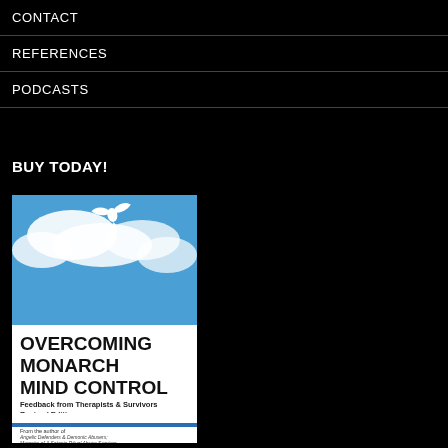CONTACT
REFERENCES
PODCASTS
BUY TODAY!
[Figure (illustration): Book cover of 'Overcoming Monarch Mind Control: Feedback from Therapists & Survivors Revised Edition' by Kerth Barker. Blue sky with white dove at top, large bold title text, blue band, and author name at bottom.]